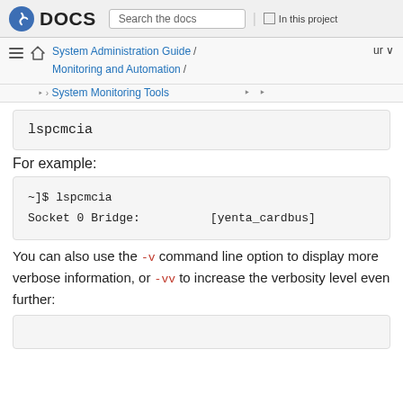Fedora DOCS | Search the docs | In this project
System Administration Guide / Monitoring and Automation / System Monitoring Tools
lspcmcia
For example:
~]$ lspcmcia
Socket 0 Bridge:          [yenta_cardbus]
You can also use the -v command line option to display more verbose information, or -vv to increase the verbosity level even further: